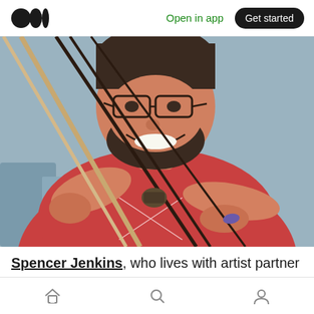Open in app  Get started
[Figure (photo): A bearded man wearing glasses and a red t-shirt smiling while holding arrow-making or bow-making materials — thin rods/sticks in his hands, close-up shot outdoors.]
Spencer Jenkins, who lives with artist partner